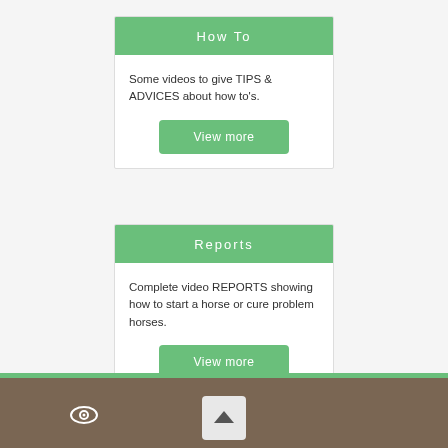How To
Some videos to give TIPS & ADVICES about how to's.
View more
Reports
Complete video REPORTS showing how to start a horse or cure problem horses.
View more